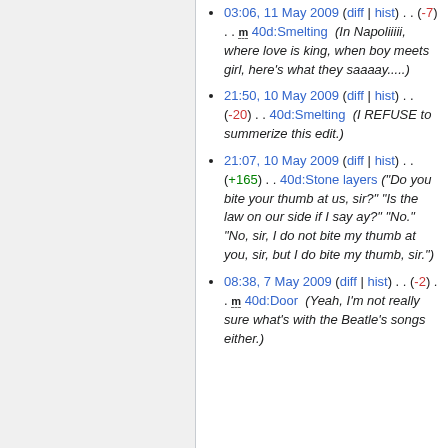03:06, 11 May 2009 (diff | hist) . . (-7) . . m 40d:Smelting (In Napoliiiii, where love is king, when boy meets girl, here's what they saaaay.....)
21:50, 10 May 2009 (diff | hist) . . (-20) . . 40d:Smelting (I REFUSE to summerize this edit.)
21:07, 10 May 2009 (diff | hist) . . (+165) . . 40d:Stone layers ("Do you bite your thumb at us, sir?" "Is the law on our side if I say ay?" "No." "No, sir, I do not bite my thumb at you, sir, but I do bite my thumb, sir.")
08:38, 7 May 2009 (diff | hist) . . (-2) . . m 40d:Door (Yeah, I'm not really sure what's with the Beatle's songs either.)